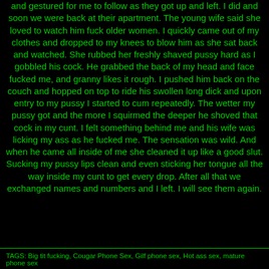and gestured for me to follow as they got up and left. I did and soon we were back at their apartment. The young wife said she loved to watch him fuck older women. I quickly came out of my clothes and dropped to my knees to blow him as she sat back and watched. She rubbed her freshly shaved pussy hard as I gobbled his cock. He grabbed the back of my head and face fucked me, and granny likes it rough. I pushed him back on the couch and hopped on top to ride his swollen long dick and upon entry to my pussy I started to cum repeatedly. The wetter my pussy got and the more I squirmed the deeper he shoved that cock in my cunt. I felt something behind me and his wife was licking my ass as he fucked me. The sensation was wild. And when he came all inside of me she cleaned it up like a good slut. Sucking my pussy lips clean and even sticking her tongue all the way inside my cunt to get every drop. After all that we exchanged names and numbers and I left. I will see them again.
TAGS: Big tit fucking, Cougar Phone Sex, Gilf phone sex, Hot ass sex, mature phone sex